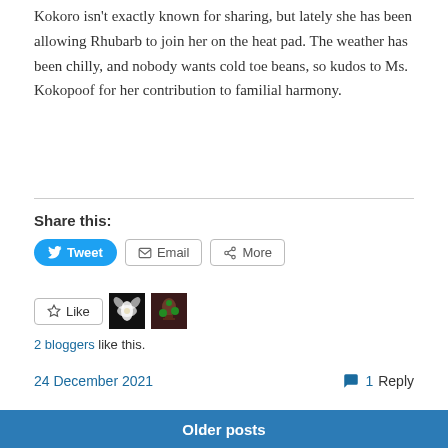Kokoro isn't exactly known for sharing, but lately she has been allowing Rhubarb to join her on the heat pad. The weather has been chilly, and nobody wants cold toe beans, so kudos to Ms. Kokopoof for her contribution to familial harmony.
Share this:
Tweet | Email | More
Like | 2 bloggers like this.
24 December 2021   💬 1 Reply
Older posts